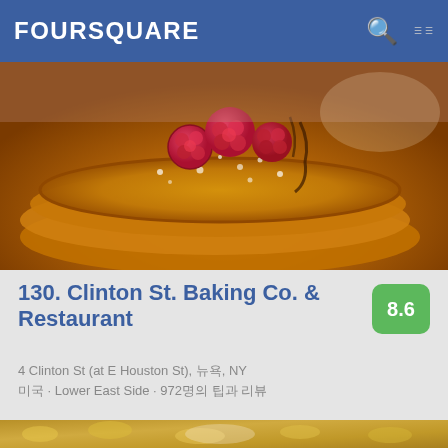FOURSQUARE
[Figure (photo): Close-up photo of pancakes topped with fresh raspberries and powdered sugar on a plate]
130. Clinton St. Baking Co. & Restaurant
4 Clinton St (at E Houston St), 뉴욕, NY
미국 · Lower East Side · 972명의 팁과 리뷰
[Figure (photo): Close-up photo of a breaded/crusted food item with white cream filling, topped with nuts and herbs]